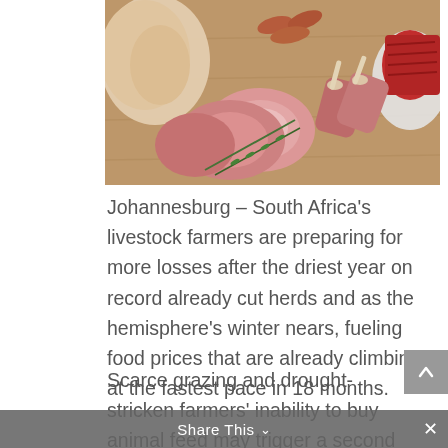[Figure (photo): Assorted raw meats including pork chops, chicken, sausages, lamb chops, and ground beef displayed on a wooden cutting board with rosemary garnish]
Johannesburg – South Africa's livestock farmers are preparing for more losses after the driest year on record already cut herds and as the hemisphere's winter nears, fueling food prices that are already climbing at the fastest pace in 18 months.
Scarce grazing and drought-stricken farmers' inability to buy animal feed may trigger a second livestock selloff during winter after similar conditions caused an oversupply during most of the summer months, Gerhard Schutte, the chief executive officer of South Africa's Red Meat Producers Organisation, said by phone on Monday.
Share This ∨